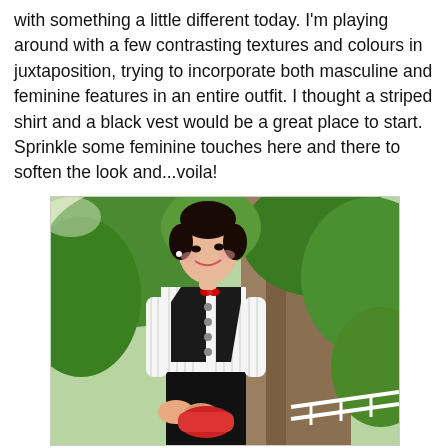with something a little different today. I'm playing around with a few contrasting textures and colours in juxtaposition, trying to incorporate both masculine and feminine features in an entire outfit. I thought a striped shirt and a black vest would be a great place to start. Sprinkle some feminine touches here and there to soften the look and...voila!
[Figure (photo): A young Asian woman smiling outdoors, wearing a white striped shirt under a black vest with silver buttons and a small red bow at the neckline, holding a red clutch bag. She has her dark hair up in a bun. Background shows a large tree trunk and green foliage.]